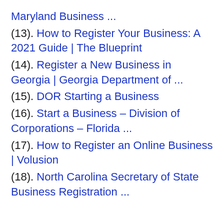Maryland Business ...
(13). How to Register Your Business: A 2021 Guide | The Blueprint
(14). Register a New Business in Georgia | Georgia Department of ...
(15). DOR Starting a Business
(16). Start a Business – Division of Corporations – Florida ...
(17). How to Register an Online Business | Volusion
(18). North Carolina Secretary of State Business Registration ...